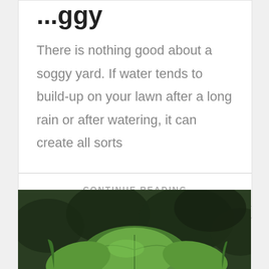...ggy
There is nothing good about a soggy yard. If water tends to build-up on your lawn after a long rain or after watering, it can create all sorts
CONTINUE READING
[Figure (photo): Photo of green leafy plants growing in a garden with dark foliage in background]